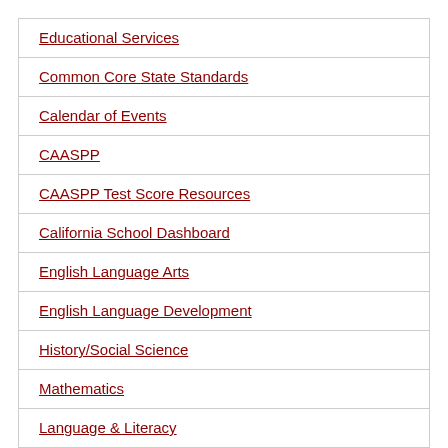Educational Services
Common Core State Standards
Calendar of Events
CAASPP
CAASPP Test Score Resources
California School Dashboard
English Language Arts
English Language Development
History/Social Science
Mathematics
Language & Literacy